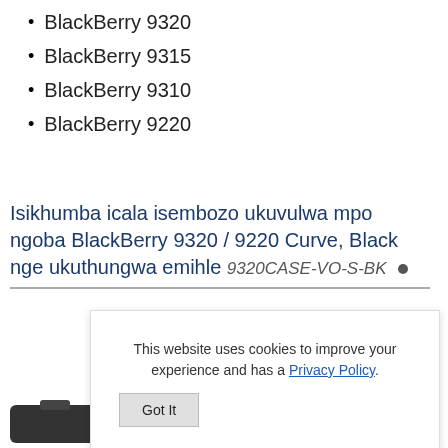BlackBerry 9320
BlackBerry 9315
BlackBerry 9310
BlackBerry 9220
Isikhumba icala isembozo ukuvulwa mpo ngoba BlackBerry 9320 / 9220 Curve, Black nge ukuthungwa emihle 9320CASE-VO-S-BK •
[Figure (photo): Product image of a black leather flip case for BlackBerry, partially visible at bottom of page. A cookie consent overlay dialog is shown on top with text 'This website uses cookies to improve your experience and has a Privacy Policy.' and a 'Got It' button.]